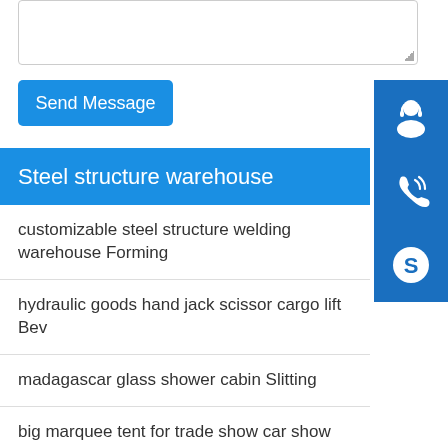[Figure (screenshot): Textarea input box at the top of the page]
Send Message
[Figure (illustration): Customer support headset icon (white on blue)]
[Figure (illustration): Phone/call icon (white on blue)]
[Figure (illustration): Skype icon (white on blue)]
Steel structure warehouse
customizable steel structure welding warehouse Forming
hydraulic goods hand jack scissor cargo lift Bev
madagascar glass shower cabin Slitting
big marquee tent for trade show car show Hole drilling
aluminum stage lighting truss cover for totem truss Milling